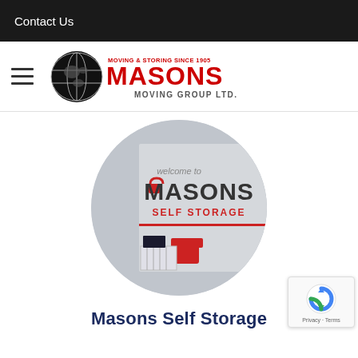Contact Us
[Figure (logo): Masons Moving Group Ltd. logo with globe icon and text 'MOVING & STORING SINCE 1905']
[Figure (photo): Circular photo of Masons Self Storage facility interior showing signage 'welcome to MASONS SELF STORAGE' with red padlock icon and red chair]
Masons Self Storage
[Figure (other): Google reCAPTCHA badge with spinning arrow icon and 'Privacy - Terms' text]